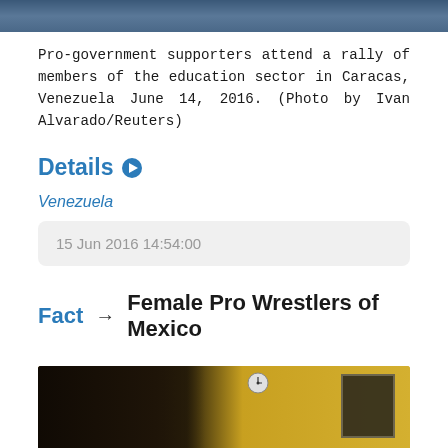[Figure (photo): Top portion of a photo showing pro-government supporters at a rally, partial view of people in blue clothing]
Pro-government supporters attend a rally of members of the education sector in Caracas, Venezuela June 14, 2016. (Photo by Ivan Alvarado/Reuters)
Details
Venezuela
15 Jun 2016 14:54:00
Fact → Female Pro Wrestlers of Mexico
[Figure (photo): Bottom portion showing two people indoors against a yellow wall with a clock visible in the background]